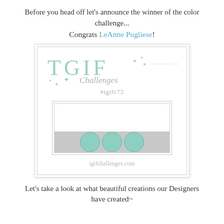Before you head off let's announce the winner of the color challenge...
Congrats LeAnne Pugliese!
[Figure (illustration): TGIF Challenges card template sketch showing logo with stars, #tgifc72 hashtag, an inner card outline with three teal circles on a gray band at the bottom, and website tgifchallenges.com]
Let's take a look at what beautiful creations our Designers have created~